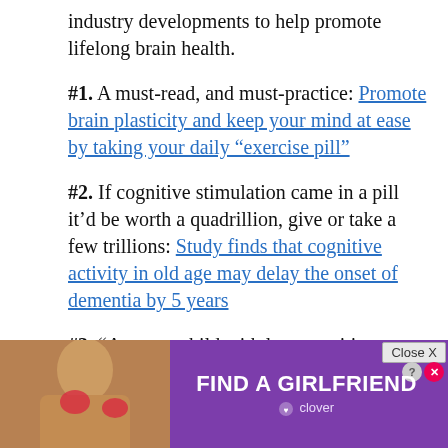industry developments to help promote lifelong brain health.
#1. A must-read, and must-practice: Promote brain plasticity and keep your mind at ease by taking your daily “exercise pill”
#2. If cognitive stimulation came in a pill it’d be worth a quadrillion, give or take a few trillions: Study finds that cognitive activity in old age may delay the onset of dementia by 5 years
#3. “A young child with low cognitive control is also more likely to develop anxiety later on in childhood, while one with a higher capacity will be more resilient to stress and less likely to develop anx- iety i... om
[Figure (screenshot): Advertisement overlay: purple background with 'FIND A GIRLFRIEND' text, Clover branding, photo of woman, close button and ad icons]